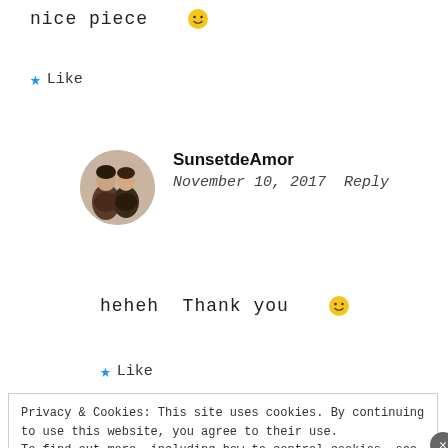nice piece 🙂
★ Like
SunsetdeAmor
November 10, 2017   Reply
[Figure (photo): Circular avatar photo showing two people]
heheh  Thank you  🙂
★ Like
Privacy & Cookies: This site uses cookies. By continuing to use this website, you agree to their use. To find out more, including how to control cookies, see here: Cookie Policy
Close and accept